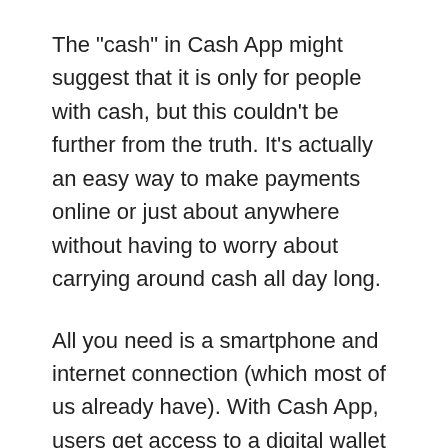The "cash" in Cash App might suggest that it is only for people with cash, but this couldn't be further from the truth. It's actually an easy way to make payments online or just about anywhere without having to worry about carrying around cash all day long.
All you need is a smartphone and internet connection (which most of us already have). With Cash App, users get access to a digital wallet which they can load up with their preferred currency like dollars or euros, then spend it. However, there is one more thing you'll need to send or receive money via Cash App: a SSN.